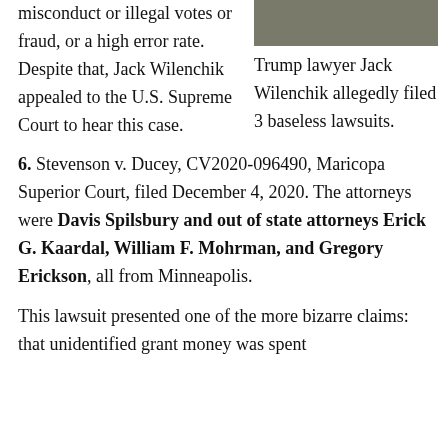misconduct or illegal votes or fraud, or a high error rate. Despite that, Jack Wilenchik appealed to the U.S. Supreme Court to hear this case.
[Figure (photo): Partial photo of a person in front of green foliage, cropped at top of page]
Trump lawyer Jack Wilenchik allegedly filed 3 baseless lawsuits.
6. Stevenson v. Ducey, CV2020-096490, Maricopa Superior Court, filed December 4, 2020. The attorneys were Davis Spilsbury and out of state attorneys Erick G. Kaardal, William F. Mohrman, and Gregory Erickson, all from Minneapolis.
This lawsuit presented one of the more bizarre claims: that unidentified grant money was spent